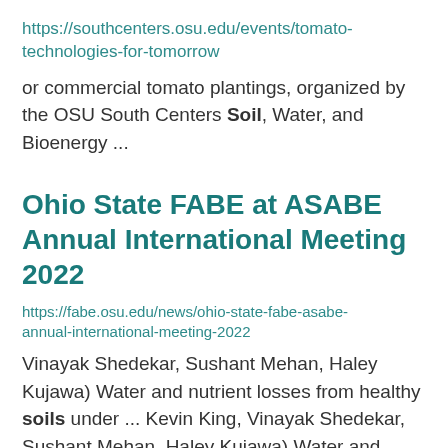https://southcenters.osu.edu/events/tomato-technologies-for-tomorrow
or commercial tomato plantings, organized by the OSU South Centers Soil, Water, and Bioenergy ...
Ohio State FABE at ASABE Annual International Meeting 2022
https://fabe.osu.edu/news/ohio-state-fabe-asabe-annual-international-meeting-2022
Vinayak Shedekar, Sushant Mehan, Haley Kujawa) Water and nutrient losses from healthy soils under ... Kevin King, Vinayak Shedekar, Sushant Mehan, Haley Kujawa) Water and nutrient losses from healthy